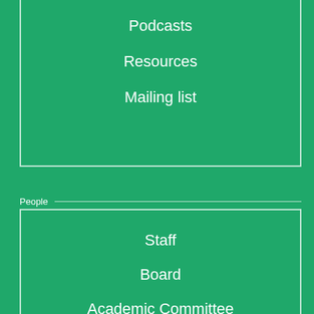Podcasts
Resources
Mailing list
People
Staff
Board
Academic Committee
Fellows
Alumni
IIAS
News
From the director